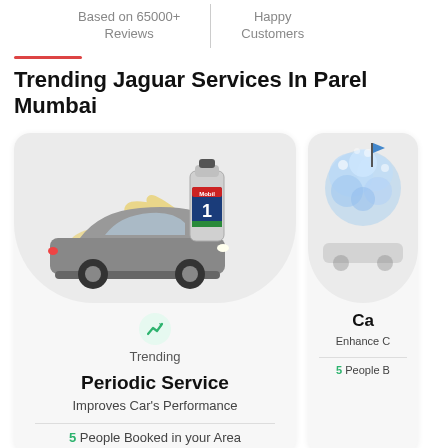Based on 65000+ Reviews
Happy Customers
Trending Jaguar Services In Parel Mumbai
[Figure (illustration): Service card showing a car with Mobil 1 oil bottle, trending badge, title 'Periodic Service', subtitle 'Improves Car's Performance', and '5 People Booked in your Area']
[Figure (illustration): Partially visible service card showing a blue soapy sponge/wash image, with text 'Ca...' and 'Enhance ...' and '5 People B...']